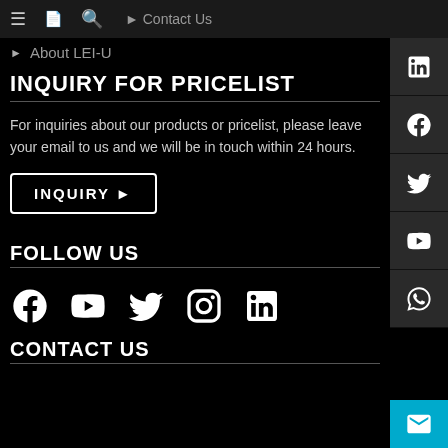Contact Us
About LEI-U
INQUIRY FOR PRICELIST
For inquiries about our products or pricelist, please leave your email to us and we will be in touch within 24 hours.
INQUIRY ▶
FOLLOW US
[Figure (infographic): Social media icons row: Facebook, YouTube, Twitter, Instagram, LinkedIn]
CONTACT US